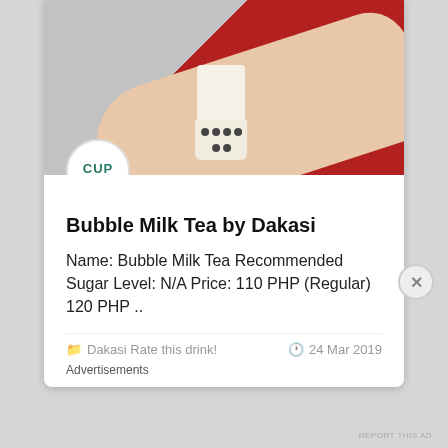[Figure (photo): Hand holding a bubble milk tea cup with black tapioca pearls, red and grey background]
Bubble Milk Tea by Dakasi
Name: Bubble Milk Tea Recommended Sugar Level: N/A Price: 110 PHP (Regular) 120 PHP ..
Dakasi  Rate this drink!     24 Mar 2019
Advertisements